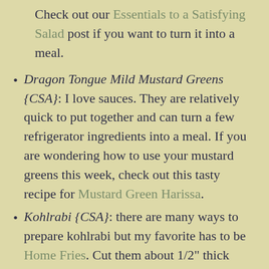Check out our Essentials to a Satisfying Salad post if you want to turn it into a meal.
Dragon Tongue Mild Mustard Greens {CSA}: I love sauces. They are relatively quick to put together and can turn a few refrigerator ingredients into a meal. If you are wondering how to use your mustard greens this week, check out this tasty recipe for Mustard Green Harissa.
Kohlrabi {CSA}: there are many ways to prepare kohlrabi but my favorite has to be Home Fries. Cut them about 1/2" thick and then place the